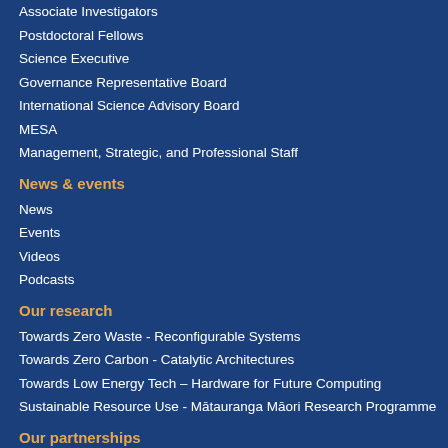Associate Investigators
Postdoctoral Fellows
Science Executive
Governance Representative Board
International Science Advisory Board
MESA
Management, Strategic, and Professional Staff
News & events
News
Events
Videos
Podcasts
Our research
Towards Zero Waste - Reconfigurable Systems
Towards Zero Carbon - Catalytic Architectures
Towards Low Energy Tech – Hardware for Future Computing
Sustainable Resource Use - Mātauranga Māori Research Programme
Our partnerships
House of Science